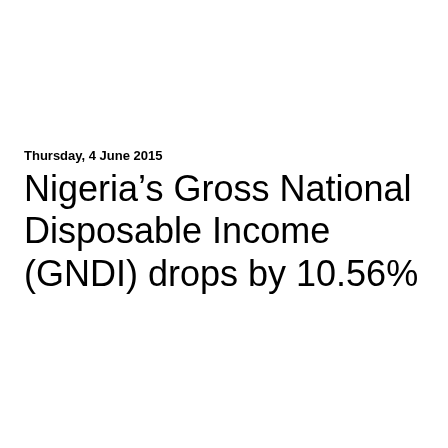Thursday, 4 June 2015
Nigeria’s Gross National Disposable Income (GNDI) drops by 10.56%